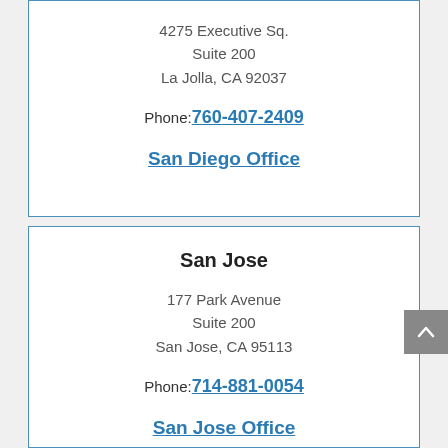4275 Executive Sq.
Suite 200
La Jolla, CA 92037
Phone: 760-407-2409
San Diego Office
San Jose
177 Park Avenue
Suite 200
San Jose, CA 95113
Phone: 714-881-0054
San Jose Office